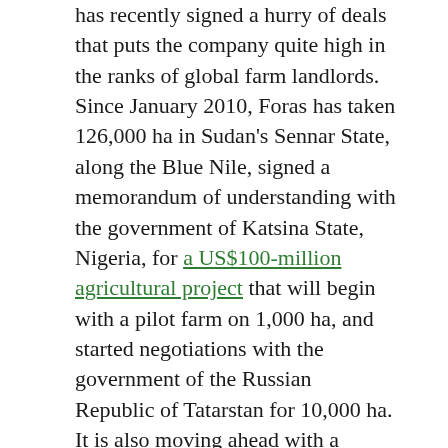has recently signed a hurry of deals that puts the company quite high in the ranks of global farm landlords. Since January 2010, Foras has taken 126,000 ha in Sudan's Sennar State, along the Blue Nile, signed a memorandum of understanding with the government of Katsina State, Nigeria, for a US$100-million agricultural project that will begin with a pilot farm on 1,000 ha, and started negotiations with the government of the Russian Republic of Tatarstan for 10,000 ha. It is also moving ahead with a US$22 million project to build a massive, vertically integrated poultry farm near Dakar, Senegal, that will produce 4.8 million birds per year. Two companies that Mukhtar met at a business forum in Sarajevo have been brought in to develop its African poultry and cattle projects.
Behind Mukhtar stand some of the most powerful families and institutions of the Gulf States. Foras is a private company, but it operates as the investment arm of the Organisation of the Islamic Conference (OIC), an intergovernmental organisation with 57 member states that